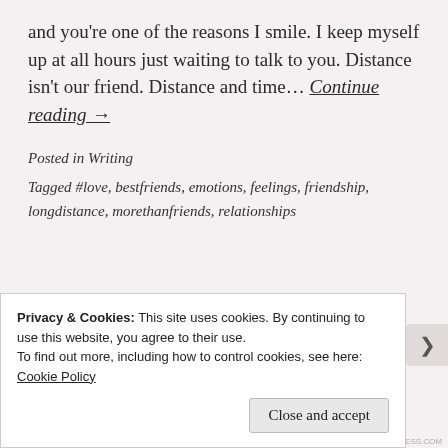and you're one of the reasons I smile. I keep myself up at all hours just waiting to talk to you. Distance isn't our friend. Distance and time… Continue reading →
Posted in Writing
Tagged #love, bestfriends, emotions, feelings, friendship, longdistance, morethanfriends, relationships
It's real
Privacy & Cookies: This site uses cookies. By continuing to use this website, you agree to their use.
To find out more, including how to control cookies, see here: Cookie Policy